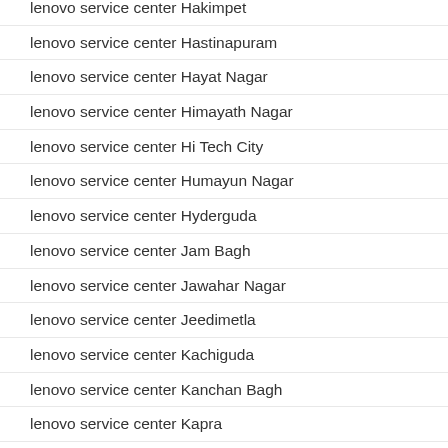lenovo service center Hakimpet
lenovo service center Hastinapuram
lenovo service center Hayat Nagar
lenovo service center Himayath Nagar
lenovo service center Hi Tech City
lenovo service center Humayun Nagar
lenovo service center Hyderguda
lenovo service center Jam Bagh
lenovo service center Jawahar Nagar
lenovo service center Jeedimetla
lenovo service center Kachiguda
lenovo service center Kanchan Bagh
lenovo service center Kapra